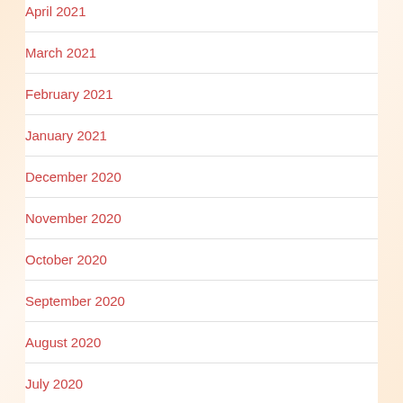April 2021
March 2021
February 2021
January 2021
December 2020
November 2020
October 2020
September 2020
August 2020
July 2020